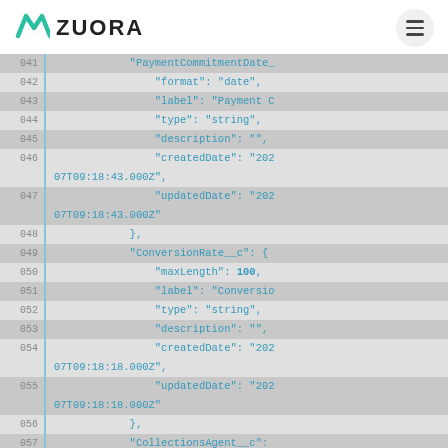[Figure (logo): Zuora logo with teal zigzag icon and bold ZUORA text]
Code block showing JSON lines 041-061 with field definitions for PaymentCommitmentDate, ConversionRate__c, and CollectionsAgent__c
| Line | Code |
| --- | --- |
| 041 | "PaymentCommitmentDate_ |
| 042 | "format": "date", |
| 043 | "label": "Payment C |
| 044 | "type": "string", |
| 045 | "description": "", |
| 046 | "createdDate": "202 |
|  | 07T09:18:43.000Z", |
| 047 | "updatedDate": "202 |
|  | 07T09:18:43.000Z" |
| 048 | }, |
| 049 | "ConversionRate__c": { |
| 050 | "maxLength": 100, |
| 051 | "label": "Conversio |
| 052 | "type": "string", |
| 053 | "description": "", |
| 054 | "createdDate": "202 |
|  | 07T09:18:18.000Z", |
| 055 | "updatedDate": "202 |
|  | 07T09:18:18.000Z" |
| 056 | }, |
| 057 | "CollectionsAgent__c": |
| 058 | "maxLength": 255, |
| 059 | "label": "Collectio |
| 060 | "type": "string", |
| 061 | "description": "... |